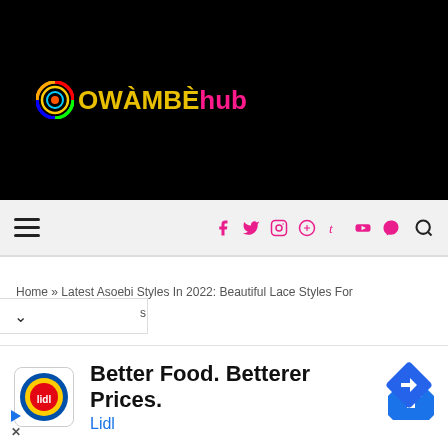[Figure (logo): OwambeHub logo with colorful circular icon and text on black background]
Hamburger menu and social icons navigation bar (f, twitter, instagram, pinterest, t, youtube, snapchat, search)
Home » Latest Asoebi Styles In 2022: Beautiful Lace Styles For
[Figure (screenshot): Advertisement: Better Food. Betterer Prices. Lidl — with Lidl logo and navigation icon]
Better Food. Betterer Prices.
Lidl